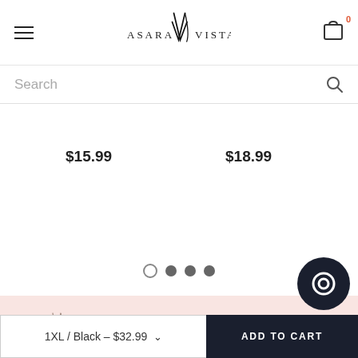Asara Vista — navigation header with hamburger menu and cart icon (0 items)
Search
$15.99
$18.99
[Figure (other): Carousel pagination dots: one empty circle and three filled grey dots]
[Figure (logo): Asara Vista logo (small, dark) in footer]
ASARA VISTA
16307 Westboro Circle Dr.
1XL / Black – $32.99
ADD TO CART